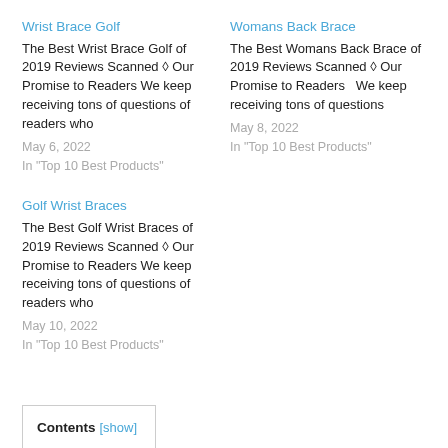Wrist Brace Golf
The Best Wrist Brace Golf of 2019 Reviews Scanned ◊ Our Promise to Readers We keep receiving tons of questions of readers who
May 6, 2022
In "Top 10 Best Products"
Womans Back Brace
The Best Womans Back Brace of 2019 Reviews Scanned ◊ Our Promise to Readers  We keep receiving tons of questions
May 8, 2022
In "Top 10 Best Products"
Golf Wrist Braces
The Best Golf Wrist Braces of 2019 Reviews Scanned ◊ Our Promise to Readers We keep receiving tons of questions of readers who
May 10, 2022
In "Top 10 Best Products"
Contents [show]